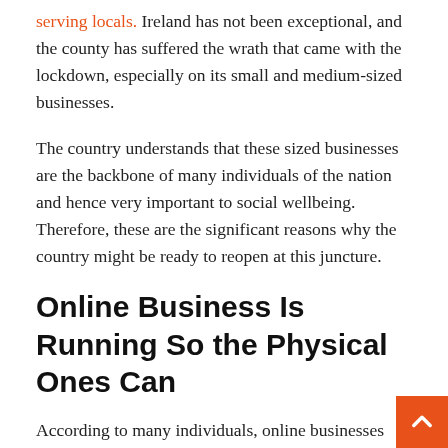serving locals. Ireland has not been exceptional, and the county has suffered the wrath that came with the lockdown, especially on its small and medium-sized businesses.
The country understands that these sized businesses are the backbone of many individuals of the nation and hence very important to social wellbeing. Therefore, these are the significant reasons why the country might be ready to reopen at this juncture.
Online Business Is Running So the Physical Ones Can
According to many individuals, online businesses such as online gambling and e-commerce have gained momentum during the lockdown period. In Ireland, people have been able to confide in their homes and leverage online transactions and